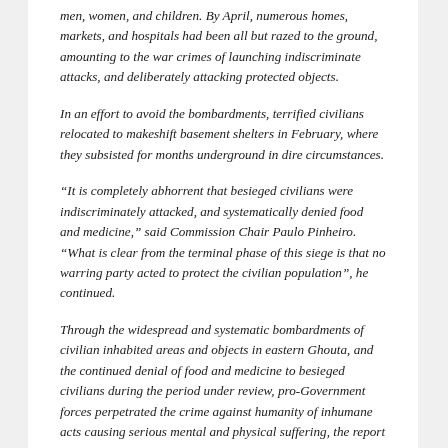men, women, and children. By April, numerous homes, markets, and hospitals had been all but razed to the ground, amounting to the war crimes of launching indiscriminate attacks, and deliberately attacking protected objects.
In an effort to avoid the bombardments, terrified civilians relocated to makeshift basement shelters in February, where they subsisted for months underground in dire circumstances.
“It is completely abhorrent that besieged civilians were indiscriminately attacked, and systematically denied food and medicine,” said Commission Chair Paulo Pinheiro. “What is clear from the terminal phase of this siege is that no warring party acted to protect the civilian population”, he continued.
Through the widespread and systematic bombardments of civilian inhabited areas and objects in eastern Ghouta, and the continued denial of food and medicine to besieged civilians during the period under review, pro-Government forces perpetrated the crime against humanity of inhumane acts causing serious mental and physical suffering, the report finds.